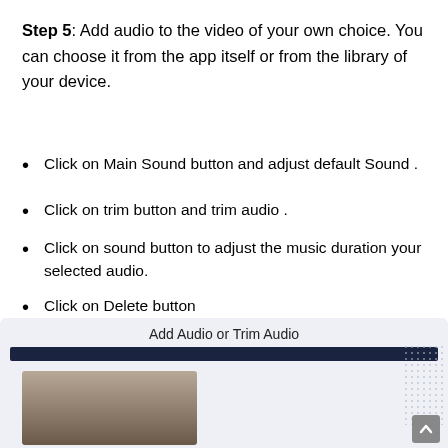Step 5: Add audio to the video of your own choice. You can choose it from the app itself or from the library of your device.
Click on Main Sound button and adjust default Sound .
Click on trim button and trim audio .
Click on sound button to adjust the music duration your selected audio.
Click on Delete button
[Figure (screenshot): Screenshot of an app screen titled 'Add Audio or Trim Audio' showing a dark navigation bar and a photo of two women smiling, with a dotted pattern on the right side and a scroll-to-top button.]